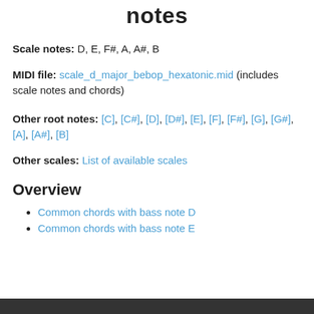notes
Scale notes: D, E, F#, A, A#, B
MIDI file: scale_d_major_bebop_hexatonic.mid (includes scale notes and chords)
Other root notes: [C], [C#], [D], [D#], [E], [F], [F#], [G], [G#], [A], [A#], [B]
Other scales: List of available scales
Overview
Common chords with bass note D
Common chords with bass note E